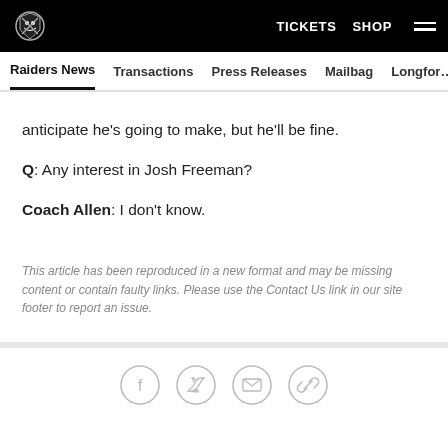TICKETS  SHOP  ☰
Raiders News  Transactions  Press Releases  Mailbag  Longform
anticipate he's going to make, but he'll be fine.
Q: Any interest in Josh Freeman?
Coach Allen: I don't know.
This article has been reproduced in a new format and may be missing content or contain faulty links. Please use the Contact Us link in our site footer to report an issue.